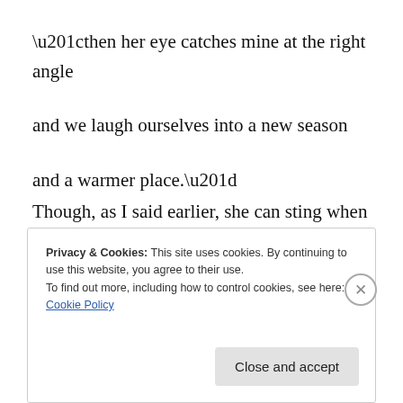“then her eye catches mine at the right angle

and we laugh ourselves into a new season

and a warmer place.”
Though, as I said earlier, she can sting when she wants to:
Privacy & Cookies: This site uses cookies. By continuing to use this website, you agree to their use.
To find out more, including how to control cookies, see here: Cookie Policy
Close and accept